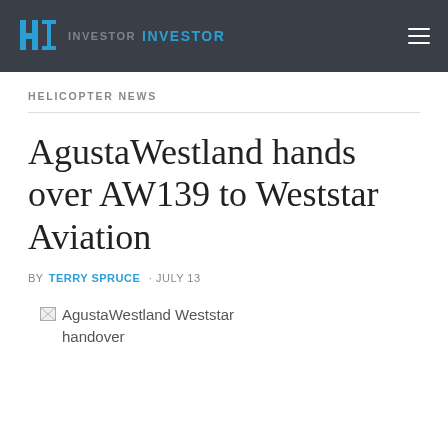HI INVESTOR INVESTOR
HELICOPTER NEWS
AgustaWestland hands over AW139 to Weststar Aviation
BY TERRY SPRUCE · JULY 13
[Figure (photo): AgustaWestland Weststar handover — broken image placeholder showing alt text]